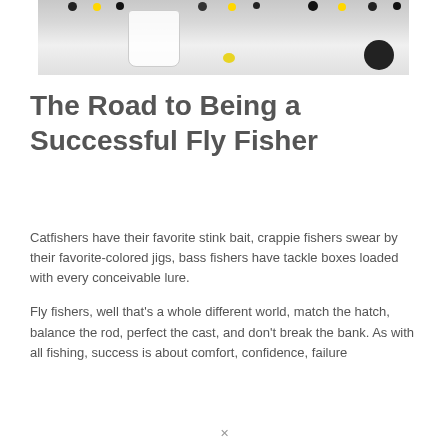[Figure (photo): Photo of fishing jigs/lures hanging overhead and a white cup/container on a light surface, with a yellow spot and a dark circle visible]
The Road to Being a Successful Fly Fisher
Catfishers have their favorite stink bait, crappie fishers swear by their favorite-colored jigs, bass fishers have tackle boxes loaded with every conceivable lure.
Fly fishers, well that's a whole different world, match the hatch, balance the rod, perfect the cast, and don't break the bank. As with all fishing, success is about comfort, confidence, failure